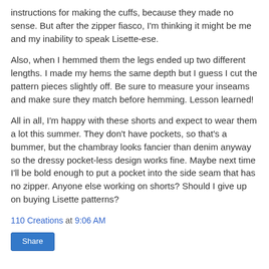instructions for making the cuffs, because they made no sense. But after the zipper fiasco, I'm thinking it might be me and my inability to speak Lisette-ese.
Also, when I hemmed them the legs ended up two different lengths. I made my hems the same depth but I guess I cut the pattern pieces slightly off. Be sure to measure your inseams and make sure they match before hemming. Lesson learned!
All in all, I'm happy with these shorts and expect to wear them a lot this summer. They don't have pockets, so that's a bummer, but the chambray looks fancier than denim anyway so the dressy pocket-less design works fine. Maybe next time I'll be bold enough to put a pocket into the side seam that has no zipper. Anyone else working on shorts? Should I give up on buying Lisette patterns?
110 Creations at 9:06 AM
Share